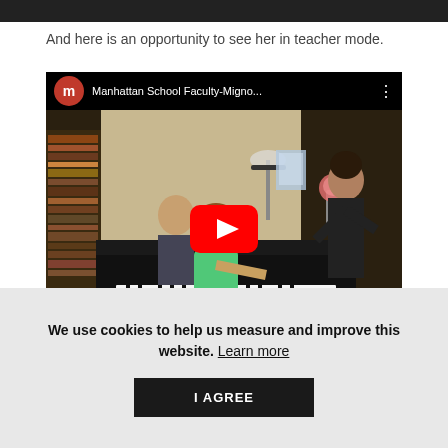And here is an opportunity to see her in teacher mode.
[Figure (screenshot): YouTube video thumbnail showing a piano lesson scene. Title reads 'Manhattan School Faculty-Migno...' with a red circle channel icon with 'm'. A red YouTube play button is centered over the video image showing two people at a piano and another person standing.]
We use cookies to help us measure and improve this website. Learn more
I AGREE